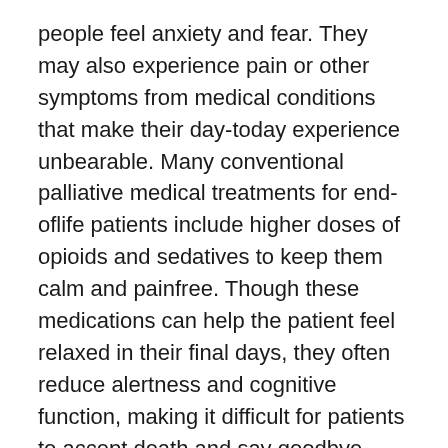people feel anxiety and fear. They may also experience pain or other symptoms from medical conditions that make their day-today experience unbearable. Many conventional palliative medical treatments for end-oflife patients include higher doses of opioids and sedatives to keep them calm and painfree. Though these medications can help the patient feel relaxed in their final days, they often reduce alertness and cognitive function, making it difficult for patients to accept death and say goodbye. Family members can only watch helplessly as their loved one slowly slips away, unable to interact or even speak.
Thankfully, there's an alternative treatment that can alleviate end-of-life patient anxiety and help them feel more at peace with death, without affecting their ability to stay alert and engaged with family and friends. Cli...